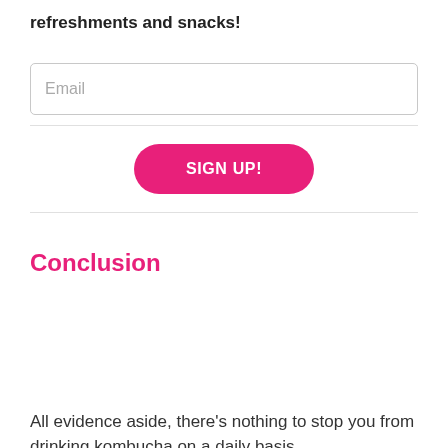refreshments and snacks!
Email
SIGN UP!
Conclusion
All evidence aside, there’s nothing to stop you from drinking kombucha on a daily basis.